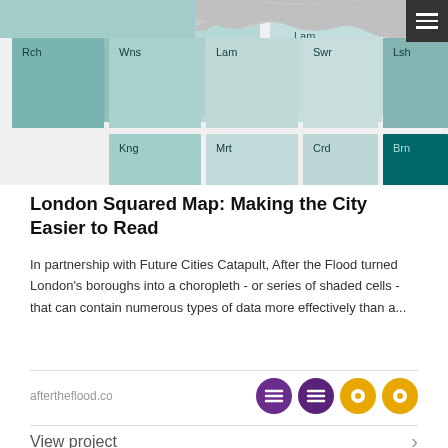[Figure (map): London Squared Map - a choropleth treemap showing London boroughs as equal-sized squares arranged in approximate geographic positions, colored in shades of teal/green from light to dark. Visible borough abbreviations include Rch, Wns, Lam, Swr, Lsh, Grn, Bxl in top row; Kng, Mrt, Crd, Brn in second row; Stn in bottom row. A gray irregular shape appears at top representing an outer area.]
London Squared Map: Making the City Easier to Read
In partnership with Future Cities Catapult, After the Flood turned London's boroughs into a choropleth - or series of shaded cells - that can contain numerous types of data more effectively than a...
aftertheflood.co
View project